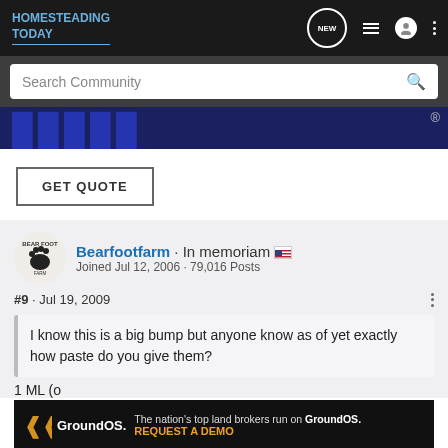HOMESTEADING TODAY
Search Community
[Figure (screenshot): Partial advertisement banner with large blue letters and a registered trademark symbol on dark blue background]
GET QUOTE
Bearfootfarm · In memoriam 🇺🇸
Joined Jul 12, 2006 · 79,016 Posts
#9 · Jul 19, 2009
I know this is a big bump but anyone know as of yet exactly how paste do you give them?
1 ML (o
[Figure (screenshot): GroundOS advertisement banner: 'The nation's top land brokers run on GroundOS. REQUEST A DEMO']